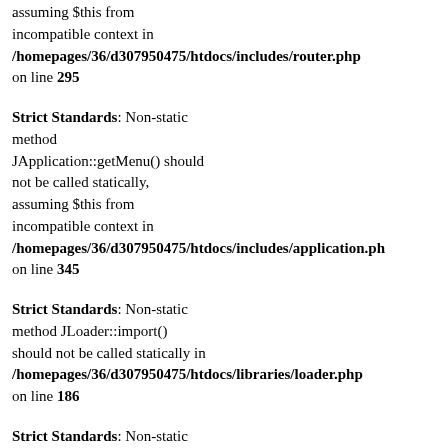assuming $this from incompatible context in /homepages/36/d307950475/htdocs/includes/router.php on line 295
Strict Standards: Non-static method JApplication::getMenu() should not be called statically, assuming $this from incompatible context in /homepages/36/d307950475/htdocs/includes/application.php on line 345
Strict Standards: Non-static method JLoader::import() should not be called statically in /homepages/36/d307950475/htdocs/libraries/loader.php on line 186
Strict Standards: Non-static method JMenu::getInstance() should not be called statically, assuming $this from incompatible context in